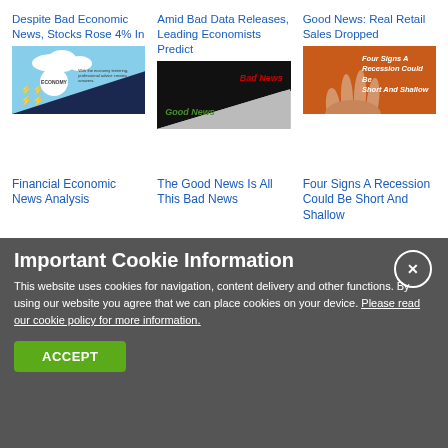Despite Bad Economic News, Stocks Rose 4% In
Amid Bad Data Releases, Leading Economists Predict
Good News: Real Retail Sales Dropped
[Figure (illustration): Economy chart illustration with blue sky, clouds, white circle with ECONOMY text, dark blue triangle shape, and red zigzag lines]
[Figure (illustration): Diagonal split image with black top half labeled Bad News in red italic, and gray bottom half labeled Good News in green italic]
[Figure (illustration): Orange background with hand showing four fingers and white italic text: Four Signs A Recession Could Be Short And Shallow]
Financial Economic News Analysis
The Good News Is All This Bad News
Four Signs A Recession Could Be Short And Shallow
Important Cookie Information
This website uses cookies for navigation, content delivery and other functions. By using our website you agree that we can place cookies on your device. Please read our cookie policy for more information.
ACCEPT